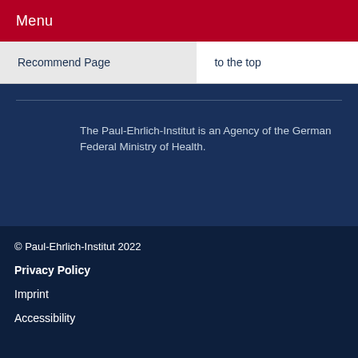Menu
Recommend Page
to the top
The Paul-Ehrlich-Institut is an Agency of the German Federal Ministry of Health.
© Paul-Ehrlich-Institut 2022
Privacy Policy
Imprint
Accessibility